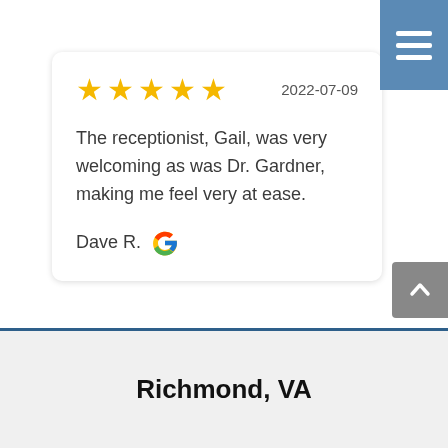[Figure (other): Blue hamburger menu button with three white horizontal lines]
★★★★★   2022-07-09
The receptionist, Gail, was very welcoming as was Dr. Gardner, making me feel very at ease.
Dave R.
[Figure (logo): Google G logo in red, yellow, green, blue]
[Figure (other): Gray scroll-to-top button with upward chevron arrow]
Richmond, VA